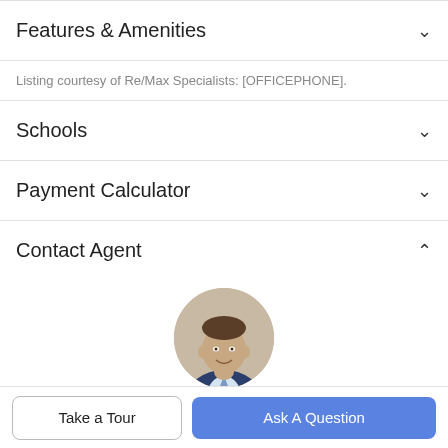Features & Amenities
Listing courtesy of Re/Max Specialists: [OFFICEPHONE].
Schools
Payment Calculator
Contact Agent
[Figure (photo): Circular headshot photo of agent Tyler Calkins, a man in a suit smiling]
Tyler Calkins
Take a Tour
Ask A Question